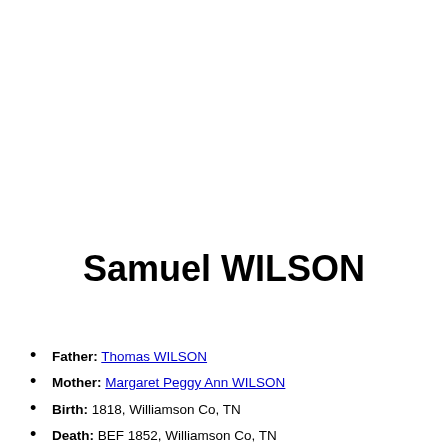Samuel WILSON
Father: Thomas WILSON
Mother: Margaret Peggy Ann WILSON
Birth: 1818, Williamson Co, TN
Death: BEF 1852, Williamson Co, TN